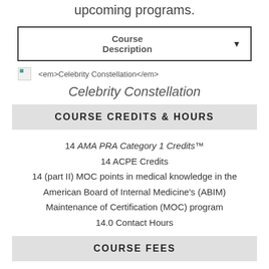upcoming programs.
Course Description
[Figure (illustration): Broken image placeholder with alt text: <em>Celebrity Constellation</em>]
Celebrity Constellation
COURSE CREDITS & HOURS
14 AMA PRA Category 1 Credits™
14 ACPE Credits
14 (part II) MOC points in medical knowledge in the American Board of Internal Medicine's (ABIM) Maintenance of Certification (MOC) program
14.0 Contact Hours
COURSE FEES